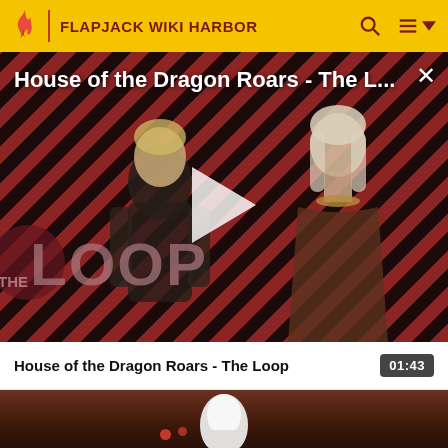FLAPJACK WIKI HARBOR
[Figure (screenshot): Video thumbnail for 'House of the Dragon Roars - The Loop' with diagonal red and dark stripe background, two characters silhouetted, THE LOOP watermark, white play button triangle, close X button, and video title overlay text]
House of the Dragon Roars - The Loop
01:43
[Figure (screenshot): Second video thumbnail showing a dark brownish-red background with a white ghost/dragon figure centered]